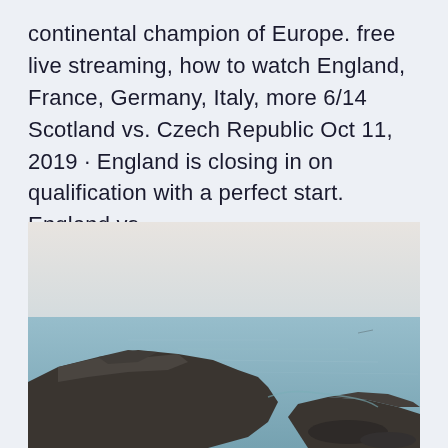continental champion of Europe. free live streaming, how to watch England, France, Germany, Italy, more 6/14 Scotland vs. Czech Republic Oct 11, 2019 · England is closing in on qualification with a perfect start. England vs.
[Figure (photo): Coastal landscape photograph showing large dark rocks in the foreground with calm, pale blue-grey sea water and a hazy, light grey sky in the background.]